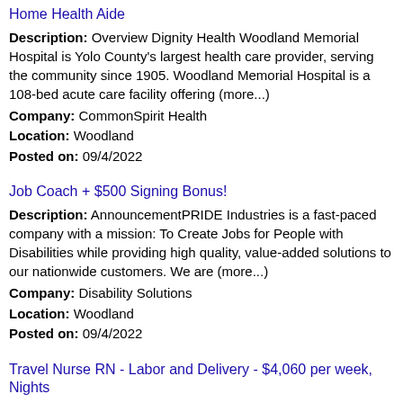Home Health Aide
Description: Overview Dignity Health Woodland Memorial Hospital is Yolo County's largest health care provider, serving the community since 1905. Woodland Memorial Hospital is a 108-bed acute care facility offering (more...)
Company: CommonSpirit Health
Location: Woodland
Posted on: 09/4/2022
Job Coach + $500 Signing Bonus!
Description: AnnouncementPRIDE Industries is a fast-paced company with a mission: To Create Jobs for People with Disabilities while providing high quality, value-added solutions to our nationwide customers. We are (more...)
Company: Disability Solutions
Location: Woodland
Posted on: 09/4/2022
Travel Nurse RN - Labor and Delivery - $4,060 per week, Nights
Description: 3D Medical Staffing is seeking a travel nurse RN Labor and Delivery for a travel nursing job in Woodland, California.Job Description Requirements
Company: 3D Medical Staffing